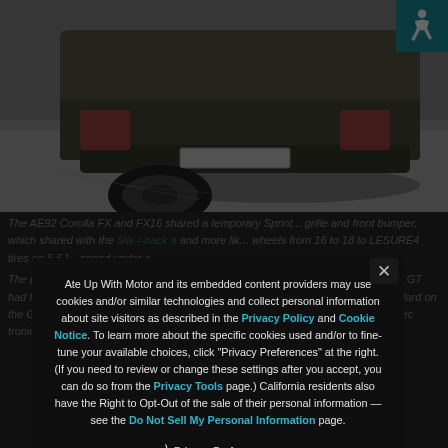[Figure (photo): Partial view of a car (rear end and wheel) on pavement, with a teal accessibility icon in the top right corner]
The AE92 Corolla FX and FX16 shared a temporary Sprint... grille and front bumper, with a black Slik-i-back and more like... wheels from 16 to 18... LESURE4 tires on 5.5J... speed under a...
The previous... Ae92 over, again s... Firmline and a firmer S... All AE92 cars except the GT had four-wheel disc brakes and the GT APEX included power steering (also standard on the GT-Z) and dual-mode electronic shock absorbers (called TEMS, for Toyota Electronic Modulated Suspension).
Ate Up With Motor and its embedded content providers may use cookies and/or similar technologies and collect personal information about site visitors as described in the Privacy Policy and Cookie Notice. To learn more about the specific cookies used and/or to fine-tune your available choices, click "Privacy Preferences" at the right. (If you need to review or change these settings after you accept, you can do so from the Privacy Tools page.) California residents also have the Right to Opt-Out of the sale of their personal information — see the Do Not Sell My Personal Information page.